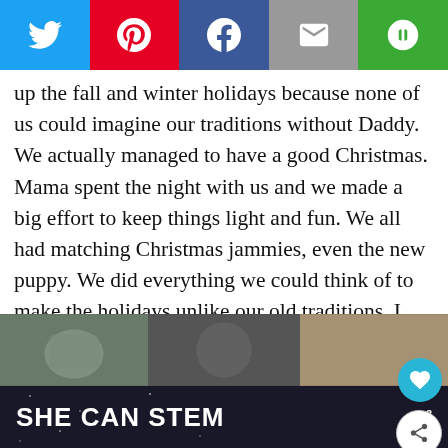[Figure (screenshot): Social share bar with Twitter, Pinterest, Facebook, Email, and copy-link buttons]
up the fall and winter holidays because none of us could imagine our traditions without Daddy. We actually managed to have a good Christmas. Mama spent the night with us and we made a big effort to keep things light and fun. We all had matching Christmas jammies, even the new puppy. We did everything we could think of to make the holidays unlike our old traditions. I don't know if that's healthy or not but it worked for us and now we have a bunch of new traditions for Thanksgiving, Christmas and New Years.
[Figure (screenshot): What's Next widget showing thumbnail and text 'The TOP 10 BEST Recip...']
[Figure (photo): Three photos strip showing people]
[Figure (screenshot): SHE CAN STEM advertisement banner with dark background]